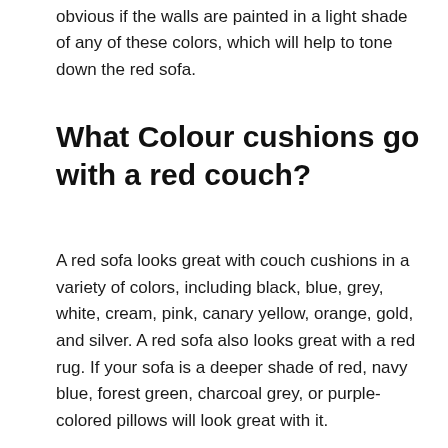obvious if the walls are painted in a light shade of any of these colors, which will help to tone down the red sofa.
What Colour cushions go with a red couch?
A red sofa looks great with couch cushions in a variety of colors, including black, blue, grey, white, cream, pink, canary yellow, orange, gold, and silver. A red sofa also looks great with a red rug. If your sofa is a deeper shade of red, navy blue, forest green, charcoal grey, or purple-colored pillows will look great with it.